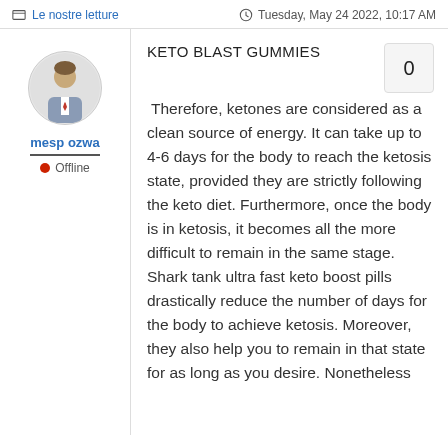Le nostre letture   |   Tuesday, May 24 2022, 10:17 AM
[Figure (illustration): Circular avatar icon showing a generic male figure in a suit, grey background]
mesp ozwa
Offline
KETO BLAST GUMMIES
Therefore, ketones are considered as a clean source of energy. It can take up to 4-6 days for the body to reach the ketosis state, provided they are strictly following the keto diet. Furthermore, once the body is in ketosis, it becomes all the more difficult to remain in the same stage. Shark tank ultra fast keto boost pills drastically reduce the number of days for the body to achieve ketosis. Moreover, they also help you to remain in that state for as long as you desire. Nonetheless